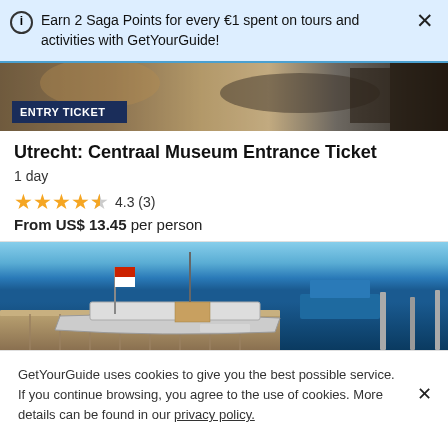Earn 2 Saga Points for every €1 spent on tours and activities with GetYourGuide!
[Figure (photo): Museum exhibit image with dark blue ENTRY TICKET badge overlay]
Utrecht: Centraal Museum Entrance Ticket
1 day
4.3 (3)
From US$ 13.45 per person
[Figure (photo): Boats docked at a marina with blue water and sky in background]
GetYourGuide uses cookies to give you the best possible service. If you continue browsing, you agree to the use of cookies. More details can be found in our privacy policy.